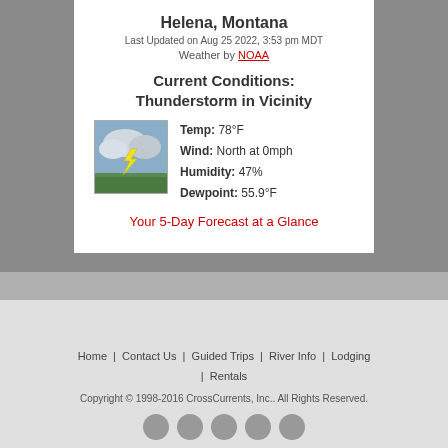Helena, Montana
Last Updated on Aug 25 2022, 3:53 pm MDT
Weather by NOAA
Current Conditions: Thunderstorm in Vicinity
[Figure (photo): Weather icon showing thunderstorm with lightning bolt, green landscape and cloudy sky]
Temp: 78°F
Wind: North at 0mph
Humidity: 47%
Dewpoint: 55.9°F
Your 5-Day Forecast at a Glance
Home | Contact Us | Guided Trips | River Info | Lodging | Rentals
Copyright © 1998-2016 CrossCurrents, Inc.. All Rights Reserved.